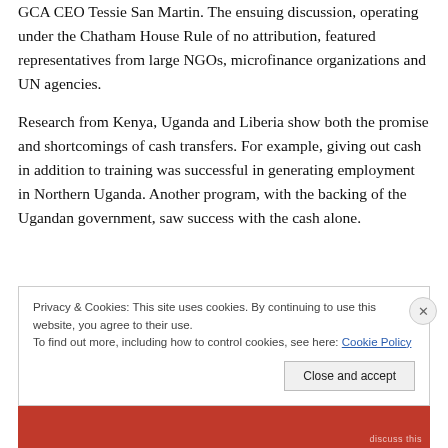GCA CEO Tessie San Martin. The ensuing discussion, operating under the Chatham House Rule of no attribution, featured representatives from large NGOs, microfinance organizations and UN agencies.
Research from Kenya, Uganda and Liberia show both the promise and shortcomings of cash transfers. For example, giving out cash in addition to training was successful in generating employment in Northern Uganda. Another program, with the backing of the Ugandan government, saw success with the cash alone.
Privacy & Cookies: This site uses cookies. By continuing to use this website, you agree to their use. To find out more, including how to control cookies, see here: Cookie Policy
Close and accept